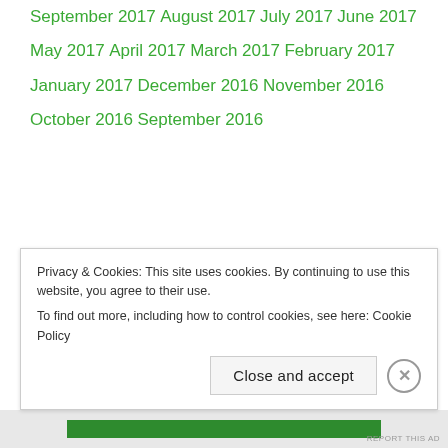September 2017
August 2017
July 2017
June 2017
May 2017
April 2017
March 2017
February 2017
January 2017
December 2016
November 2016
October 2016
September 2016
Privacy & Cookies: This site uses cookies. By continuing to use this website, you agree to their use.
To find out more, including how to control cookies, see here: Cookie Policy
Close and accept